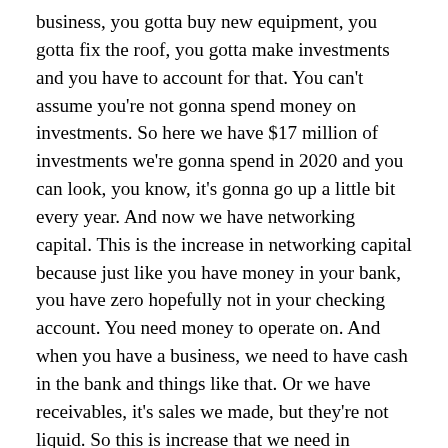business, you gotta buy new equipment, you gotta fix the roof, you gotta make investments and you have to account for that. You can't assume you're not gonna spend money on investments. So here we have $17 million of investments we're gonna spend in 2020 and you can look, you know, it's gonna go up a little bit every year. And now we have networking capital. This is the increase in networking capital because just like you have money in your bank, you have zero hopefully not in your checking account. You need money to operate on. And when you have a business, we need to have cash in the bank and things like that. Or we have receivables, it's sales we made, but they're not liquid. So this is increase that we need in networking capital every year, $6.4 million, $6.6 million just to run the business, right? We need to have a little cushion and enter to make payroll and stuff like that.
Now once you have these numbers here, okay, we can then figure out what our net cashflow is